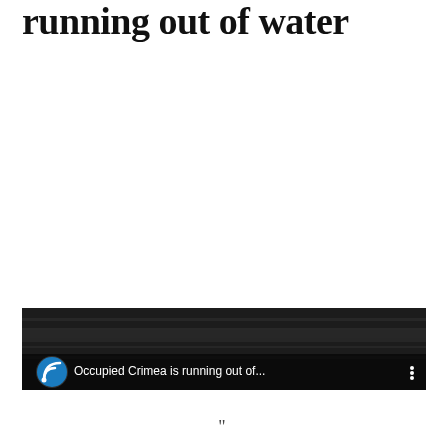running out of water
[Figure (screenshot): Video thumbnail showing a dark ocean/water surface with a circular logo icon (blue RSS/broadcast symbol) and white text caption 'Occupied Crimea is running out of...' with a vertical dots menu icon on the right.]
"